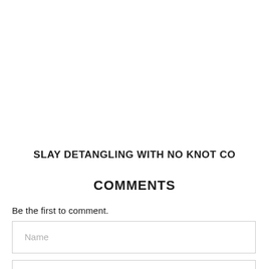SLAY DETANGLING WITH NO KNOT CO
COMMENTS
Be the first to comment.
Name
Email